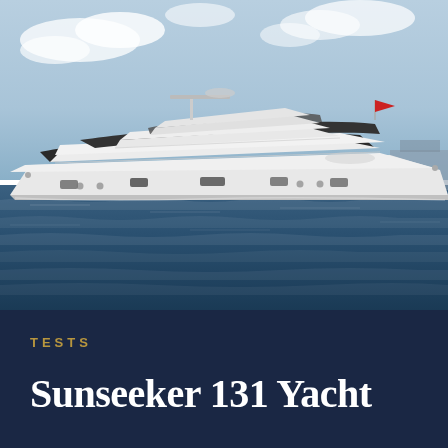[Figure (photo): Large white luxury motor yacht (Sunseeker 131 Yacht) photographed from the side, floating on choppy dark blue ocean water. The yacht has multiple decks, dark tinted glass windows in a distinctive curved pattern, and a small red flag at the stern. Sky with light clouds visible in the background.]
TESTS
Sunseeker 131 Yacht